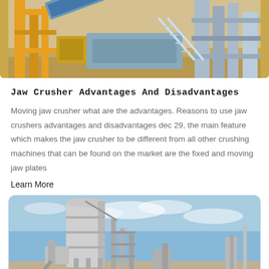[Figure (photo): Industrial jaw crusher / aggregate processing equipment with yellow steel framework and conveyor belts at a mining or quarry site]
Jaw Crusher Advantages And Disadvantages
Moving jaw crusher what are the advantages. Reasons to use jaw crushers advantages and disadvantages dec 29, the main feature which makes the jaw crusher to be different from all other crushing machines that can be found on the market are the fixed and moving jaw plates
Learn More
[Figure (photo): Industrial silo / concrete batching plant with large cylindrical storage tank and steel framework against a blue sky with clouds]